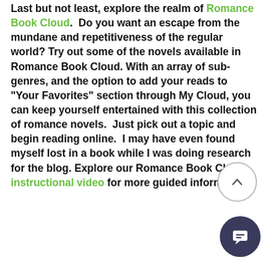Last but not least, explore the realm of Romance Book Cloud. Do you want an escape from the mundane and repetitiveness of the regular world? Try out some of the novels available in Romance Book Cloud. With an array of sub-genres, and the option to add your reads to "Your Favorites" section through My Cloud, you can keep yourself entertained with this collection of romance novels. Just pick out a topic and begin reading online. I may have even found myself lost in a book while I was doing research for the blog. Explore our Romance Book Cloud instructional video for more guided information!